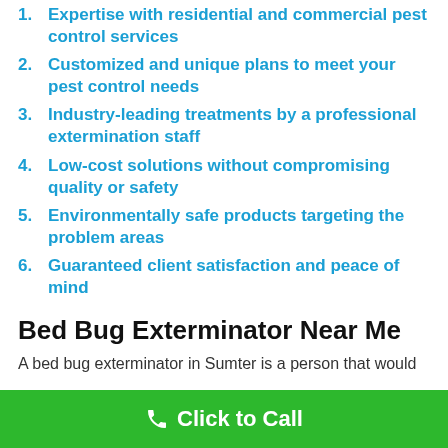1. Expertise with residential and commercial pest control services
2. Customized and unique plans to meet your pest control needs
3. Industry-leading treatments by a professional extermination staff
4. Low-cost solutions without compromising quality or safety
5. Environmentally safe products targeting the problem areas
6. Guaranteed client satisfaction and peace of mind
Bed Bug Exterminator Near Me
A bed bug exterminator in Sumter is a person that would
Click to Call